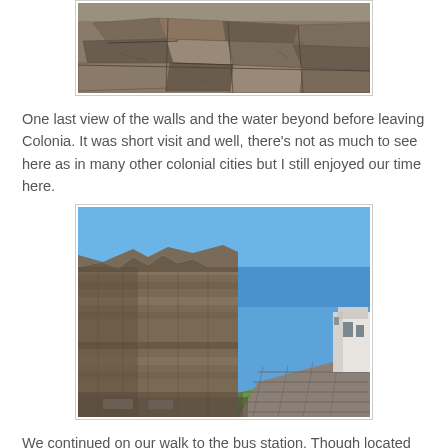[Figure (photo): Close-up view of flat stone pavers/rocks on the ground in Colonia, partially cut off at top]
One last view of the walls and the water beyond before leaving Colonia.  It was short visit and well, there's not as much to see here as in many other colonial cities but I still enjoyed our time here.
[Figure (photo): Stone colonial wall ruins with green grass embankment and blue sky, cobblestone path on the right with white buildings visible]
We continued on our walk to the bus station.  Though located outside the historic city walls, the neighborhood we